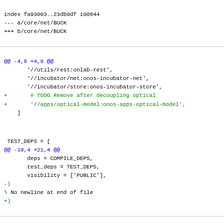index fa93003..23db0df 100644
--- a/core/net/BUCK
+++ b/core/net/BUCK
@@ -4,6 +4,8 @@
        '//utils/rest:onlab-rest',
        '//incubator/net:onos-incubator-net',
        '//incubator/store:onos-incubator-store',
+       # TODO Remove after decoupling optical
+       '//apps/optical-model:onos-apps-optical-model',
    ]
TEST_DEPS = [
@@ -19,4 +21,4 @@
        deps = COMPILE_DEPS,
        test_deps = TEST_DEPS,
        visibility = ['PUBLIC'],
-)
\ No newline at end of file
+)
diff --git a/core/net/pom.xml b/core/net/pom.xml
index 1d0550b..483c41b 100644